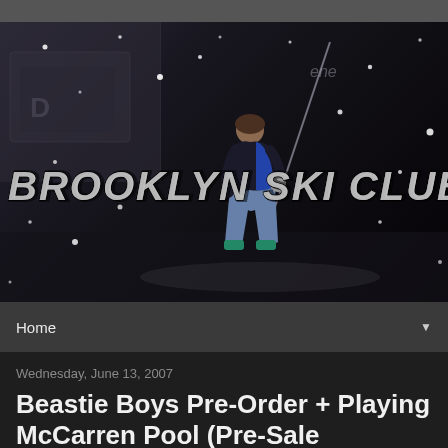[Figure (photo): Brooklyn Ski Club header image: a child on skis in an indoor/urban setting with graffiti walls, snow particles scattered throughout, and large 'Brooklyn Ski Club' logo text overlaid on the image]
Home ▼
Wednesday, June 13, 2007
Beastie Boys Pre-Order + Playing McCarren Pool (Pre-Sale Password)